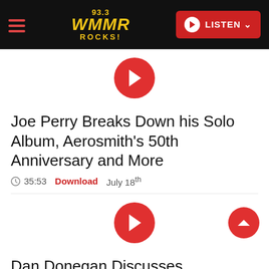93.3 WMMR ROCKS! — LISTEN
[Figure (screenshot): Red circular play button for first podcast episode]
Joe Perry Breaks Down his Solo Album, Aerosmith's 50th Anniversary and More
35:53   Download   July 18th
[Figure (screenshot): Red circular play button for second podcast episode]
Dan Donegan Discusses Disturbed's Upcoming 8th Studio Album
11:08   Download   July 18th